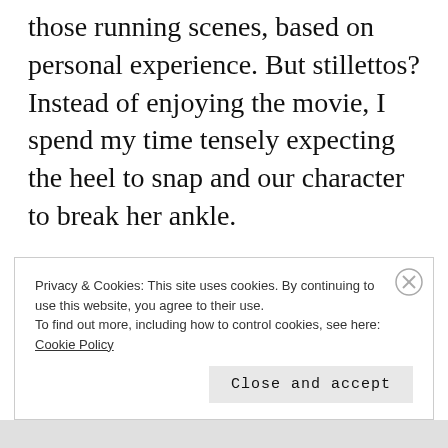those running scenes, based on personal experience. But stillettos? Instead of enjoying the movie, I spend my time tensely expecting the heel to snap and our character to break her ankle.
The bigger question arising from this (you might think random) topic, yet again, is
Privacy & Cookies: This site uses cookies. By continuing to use this website, you agree to their use.
To find out more, including how to control cookies, see here:
Cookie Policy